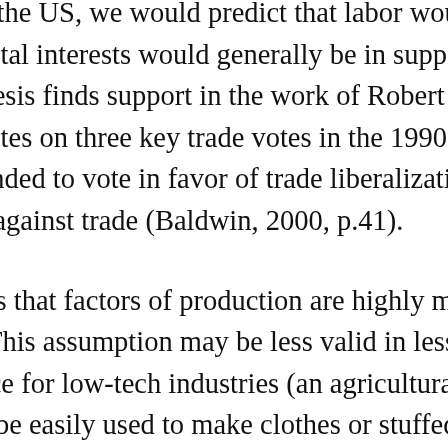scarce labor and abundant capital (the US). In the US, we would predict that labor would generally oppose trade liberalization while capital interests would generally be in support of opening up to trade. Evidence that this hypothesis finds support in the work of Robert Baldwin and (2000), whose analysis of congressional votes on three key trade votes in the 1990s found that legislators with a pro-business ideology tended to vote in favor of trade liberalization while those with a pro-labor ideology tended to vote against trade (Baldwin, 2000, p.41).
While the Stolper-Samuelson Theorem assumes that factors of production are highly mobile across sectors, this may not always be valid. This assumption may be less valid in less developed economies with a low skill workforce for low-tech industries (an agricultural worker can easily pack boxes of canned food, and can be easily used to make clothes or stuffed toys)...